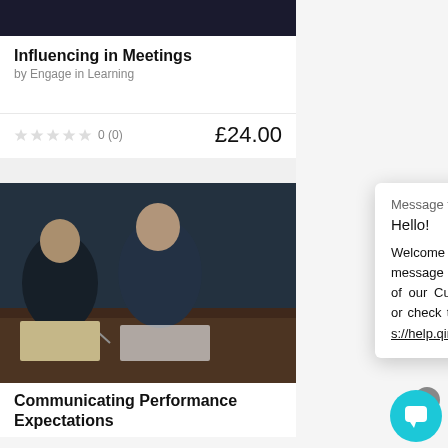[Figure (screenshot): Dark top banner image of course card]
Influencing in Meetings
by Engage in Learning
★★★★★ 0 (0)    £24.00
[Figure (photo): People sitting at a table writing notes in a meeting or learning session]
Message from QIntil
Hello!

Welcome to Qintil. Type a message below to speak with one of our Customer Support Agents or check the Qintil Helpdesk: https://help.qintil.com/en/
Communicating Performance Expectations